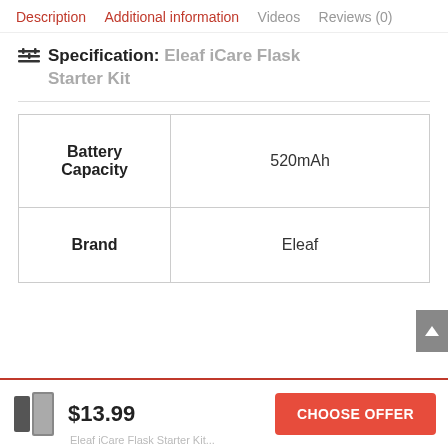Description  Additional information  Videos  Reviews (0)
Specification: Eleaf iCare Flask Starter Kit
|  |  |
| --- | --- |
| Battery Capacity | 520mAh |
| Brand | Eleaf |
$13.99
CHOOSE OFFER
Eleaf iCare Flask Starter Kit...